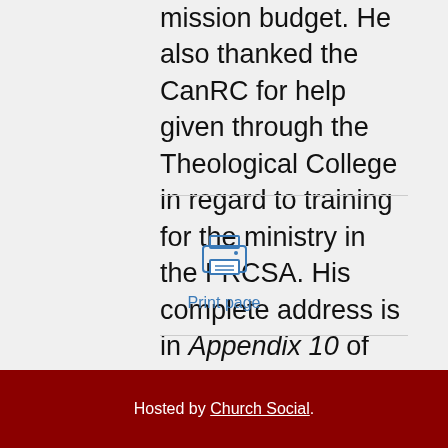mission budget. He also thanked the CanRC for help given through the Theological College in regard to training for the ministry in the FRCSA. His complete address is in Appendix 10 of the Acts.
[Figure (other): Printer icon representing a print page action]
Print page
Hosted by Church Social.